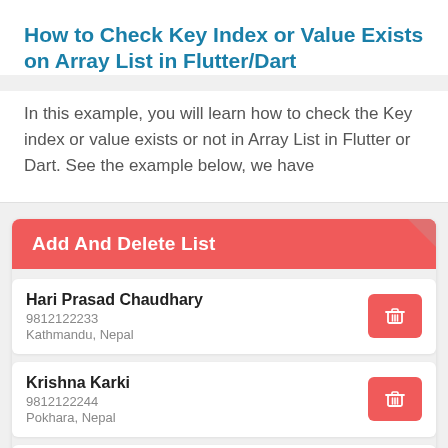How to Check Key Index or Value Exists on Array List in Flutter/Dart
In this example, you will learn how to check the Key index or value exists or not in Array List in Flutter or Dart. See the example below, we have
[Figure (screenshot): A mobile app UI screenshot showing 'Add And Delete List' with a red header and three list items: Hari Prasad Chaudhary (9812122233, Kathmandu, Nepal), Krishna Karki (9812122244, Pokhara, Nepal), Ujjwal Joshi (98121224444, Bangalore, India), each with a red delete (trash) button.]